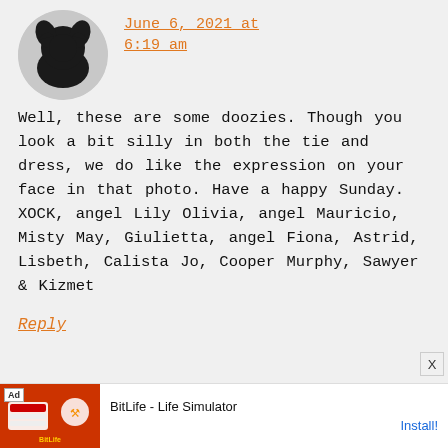[Figure (illustration): Circular avatar with dark silhouette of a cat or creature on grey background]
June 6, 2021 at 6:19 am
Well, these are some doozies. Though you look a bit silly in both the tie and dress, we do like the expression on your face in that photo. Have a happy Sunday. XOCK, angel Lily Olivia, angel Mauricio, Misty May, Giulietta, angel Fiona, Astrid, Lisbeth, Calista Jo, Cooper Murphy, Sawyer & Kizmet
Reply
[Figure (screenshot): Ad banner for BitLife - Life Simulator with Install button]